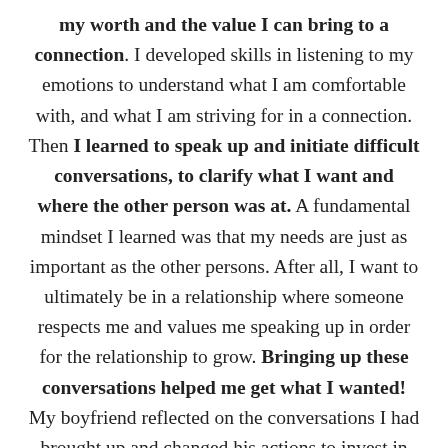my worth and the value I can bring to a connection. I developed skills in listening to my emotions to understand what I am comfortable with, and what I am striving for in a connection. Then I learned to speak up and initiate difficult conversations, to clarify what I want and where the other person was at. A fundamental mindset I learned was that my needs are just as important as the other persons. After all, I want to ultimately be in a relationship where someone respects me and values me speaking up in order for the relationship to grow. Bringing up these conversations helped me get what I wanted! My boyfriend reflected on the conversations I had brought up and changed his actions to invest in our connection to the level I was hoping for. He even said “although the conversations were uncomfortable I’m glad we had them because they progressed the relationship”, an amazing